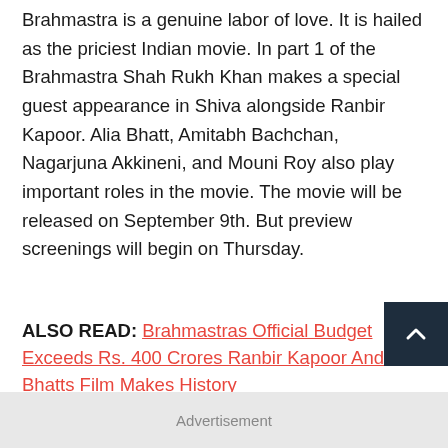Brahmastra is a genuine labor of love. It is hailed as the priciest Indian movie. In part 1 of the Brahmastra Shah Rukh Khan makes a special guest appearance in Shiva alongside Ranbir Kapoor. Alia Bhatt, Amitabh Bachchan, Nagarjuna Akkineni, and Mouni Roy also play important roles in the movie. The movie will be released on September 9th. But preview screenings will begin on Thursday.
ALSO READ: Brahmastras Official Budget Exceeds Rs. 400 Crores Ranbir Kapoor And Alia Bhatts Film Makes History
Advertisement